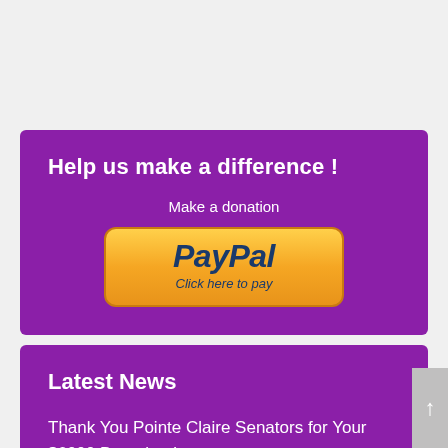Help us make a difference !
Make a donation
[Figure (logo): PayPal button with text 'PayPal Click here to pay' on a gold/orange gradient rounded rectangle button]
Latest News
Thank You Pointe Claire Senators for Your $6000 Donation !